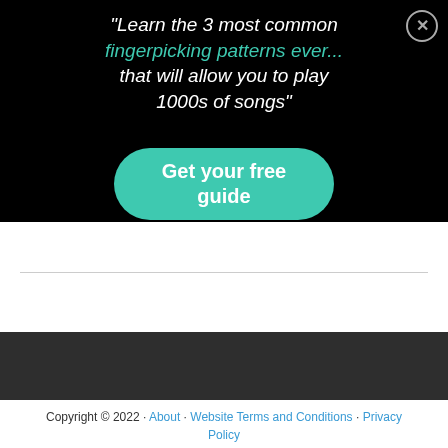[Figure (screenshot): Popup banner on black background with italic white and teal text reading: 'Learn the 3 most common fingerpicking patterns ever... that will allow you to play 1000s of songs"' and a teal rounded button 'Get your free guide'. A close button (X in circle) in top-right corner.]
Copyright © 2022 · About · Website Terms and Conditions · Privacy Policy